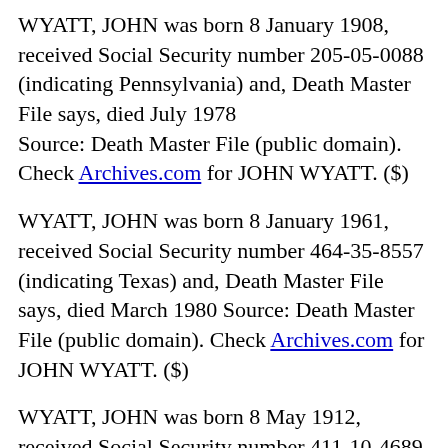WYATT, JOHN was born 8 January 1908, received Social Security number 205-05-0088 (indicating Pennsylvania) and, Death Master File says, died July 1978 Source: Death Master File (public domain). Check Archives.com for JOHN WYATT. ($)
WYATT, JOHN was born 8 January 1961, received Social Security number 464-35-8557 (indicating Texas) and, Death Master File says, died March 1980 Source: Death Master File (public domain). Check Archives.com for JOHN WYATT. ($)
WYATT, JOHN was born 8 May 1912, received Social Security number 411-10-4689 (indicating Tennessee) and, Death Master File says, died August 1978 Source: Death Master File (public domain). Check Archives.com for JOHN WYATT. ($)
WYATT, JOHN was born 8 November 1920, received Social Security number 243-16-4057 (indicating North